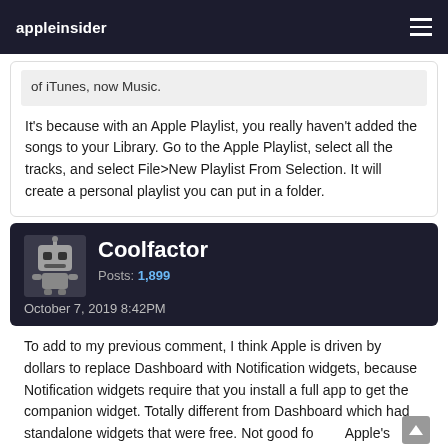appleinsider
of iTunes, now Music.
It's because with an Apple Playlist, you really haven't added the songs to your Library. Go to the Apple Playlist, select all the tracks, and select File>New Playlist From Selection. It will create a personal playlist you can put in a folder.
Coolfactor
Posts: 1,899
October 7, 2019 8:42PM
To add to my previous comment, I think Apple is driven by dollars to replace Dashboard with Notification widgets, because Notification widgets require that you install a full app to get the companion widget. Totally different from Dashboard which had standalone widgets that were free. Not good for Apple's bottom line.